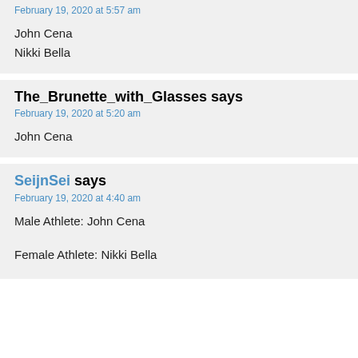February 19, 2020 at 5:57 am
John Cena
Nikki Bella
The_Brunette_with_Glasses says
February 19, 2020 at 5:20 am
John Cena
SeijnSei says
February 19, 2020 at 4:40 am
Male Athlete: John Cena
Female Athlete: Nikki Bella